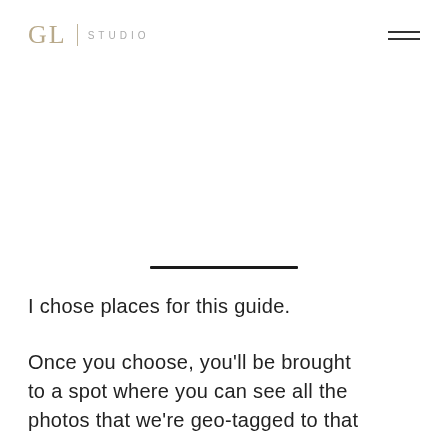GL | STUDIO
I chose places for this guide.
Once you choose, you'll be brought to a spot where you can see all the photos that we're geo-tagged to that